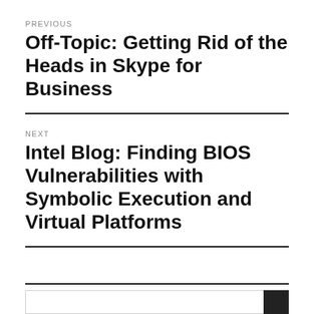PREVIOUS
Off-Topic: Getting Rid of the Heads in Skype for Business
NEXT
Intel Blog: Finding BIOS Vulnerabilities with Symbolic Execution and Virtual Platforms